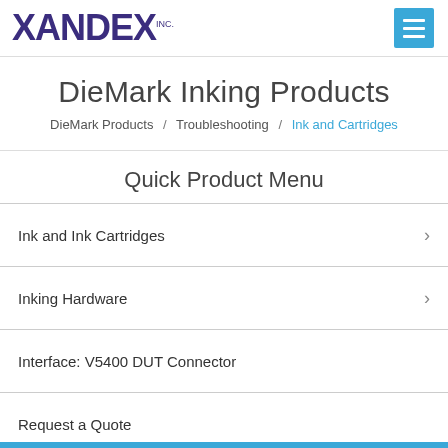XANDEX INC.
DieMark Inking Products
DieMark Products / Troubleshooting / Ink and Cartridges
Quick Product Menu
Ink and Ink Cartridges
Inking Hardware
Interface: V5400 DUT Connector
Request a Quote
Manuals and Drawings